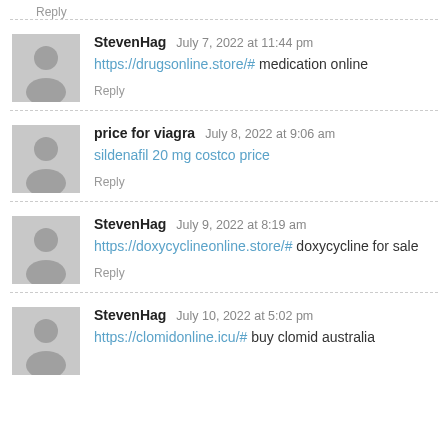Reply
StevenHag   July 7, 2022 at 11:44 pm
https://drugsonline.store/# medication online
Reply
price for viagra   July 8, 2022 at 9:06 am
sildenafil 20 mg costco price
Reply
StevenHag   July 9, 2022 at 8:19 am
https://doxycyclineonline.store/# doxycycline for sale
Reply
StevenHag   July 10, 2022 at 5:02 pm
https://clomidonline.icu/# buy clomid australia